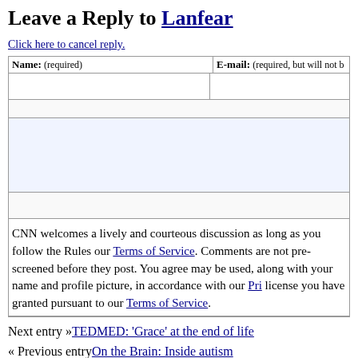Leave a Reply to Lanfear
Click here to cancel reply.
| Name: (required) | E-mail: (required, but will not …) |
| --- | --- |
|  |  |
CNN welcomes a lively and courteous discussion as long as you follow the Rules our Terms of Service. Comments are not pre-screened before they post. You agree may be used, along with your name and profile picture, in accordance with our Pri license you have granted pursuant to our Terms of Service.
Next entry »TEDMED: 'Grace' at the end of life
« Previous entryOn the Brain: Inside autism